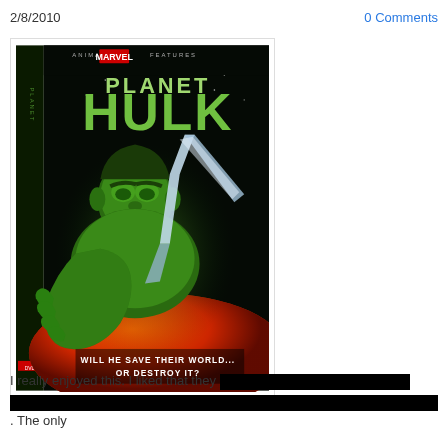2/8/2010
0 Comments
[Figure (photo): DVD cover for 'Planet Hulk' - Animated Marvel Features. Shows the Hulk reaching toward viewer with a large sword/blade, hovering above a planet. Text reads: ANIMATED MARVEL FEATURES / PLANET / HULK / WILL HE SAVE THEIR WORLD... OR DESTROY IT?]
I really enjoyed this. I liked that they [redacted]. The only